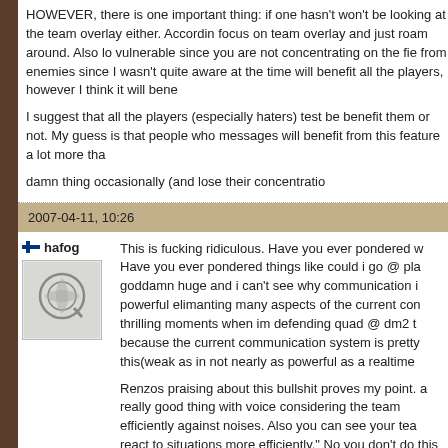HOWEVER, there is one important thing: if one hasn't won't be looking at the team overlay either. According focus on team overlay and just roam around. Also lo vulnerable since you are not concentrating on the fie from enemies since I wasn't quite aware at the time will benefit all the players, however I think it will bene

I suggest that all the players (especially haters) test be benefit them or not. My guess is that people who messages will benefit from this feature a lot more tha damn thing occasionally (and lose their concentratio
2007-04-11, 10:26
hafog
[Figure (photo): Avatar image showing a Quake logo/symbol - a circular design on light gray background]
This is fucking ridiculous. Have you ever pondered w Have you ever pondered things like could i go @ pla goddamn huge and i can't see why communication i powerful elimanting many aspects of the current con thrilling moments when im defending quad @ dm2 t because the current communication system is pretty this(weak as in not nearly as powerful as a realtime

Renzos praising about this bullshit proves my point. a really good thing with voice considering the team efficiently against noises. Also you can see your tea react to situations more efficiently." No you don't do this for you. It practically allows instant prediction fro only good thing this bullshit has it could probably att piss off a lot of people.